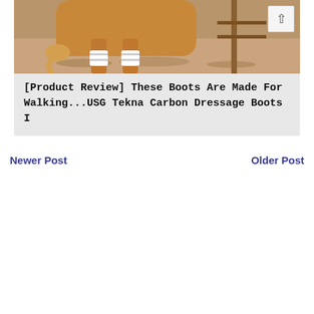[Figure (photo): Photo of a horse's legs with white boots/wraps on the lower legs, standing on a sandy arena surface with a fence post visible in the background.]
[Product Review] These Boots Are Made For Walking...USG Tekna Carbon Dressage Boots I
Newer Post
Older Post